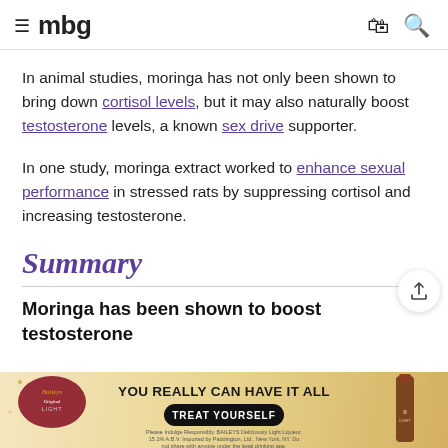≡ mbg
In animal studies, moringa has not only been shown to bring down cortisol levels, but it may also naturally boost testosterone levels, a known sex drive supporter.
In one study, moringa extract worked to enhance sexual performance in stressed rats by suppressing cortisol and increasing testosterone.
Summary
Moringa has been shown to boost testosterone
[Figure (infographic): Baileys advertisement banner: YOU REALLY CAN HAVE IT ALL with TREAT YOURSELF button and fine print about responsible drinking.]